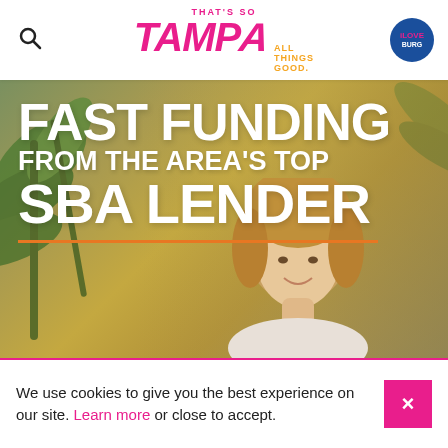That's So TAMPA ALL THINGS GOOD.
[Figure (photo): Advertisement image for an SBA lender with a woman smiling and green plants in the background. Text overlay reads: FAST FUNDING FROM THE AREA'S TOP SBA LENDER with an orange horizontal rule.]
We use cookies to give you the best experience on our site. Learn more or close to accept.